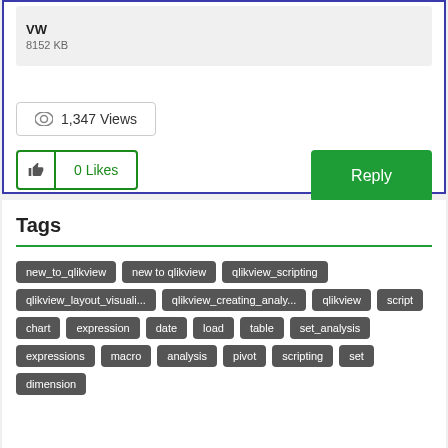VW
8152 KB
1,347 Views
0 Likes
Reply
Tags
new_to_qlikview
new to qlikview
qlikview_scripting
qlikview_layout_visuali...
qlikview_creating_analy...
qlikview
script
chart
expression
date
load
table
set_analysis
expressions
macro
analysis
pivot
scripting
set
dimension